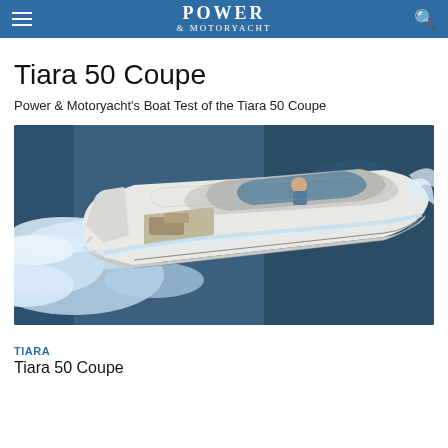POWER & MOTORYACHT
Tiara 50 Coupe
Power & Motoryacht's Boat Test of the Tiara 50 Coupe
[Figure (photo): Aerial view of the Tiara 50 Coupe speedboat cutting through dark blue ocean water at speed, creating a large white wake. The white motor yacht is photographed from above and slightly behind, showing the cockpit and cabin areas.]
TIARA
Tiara 50 Coupe